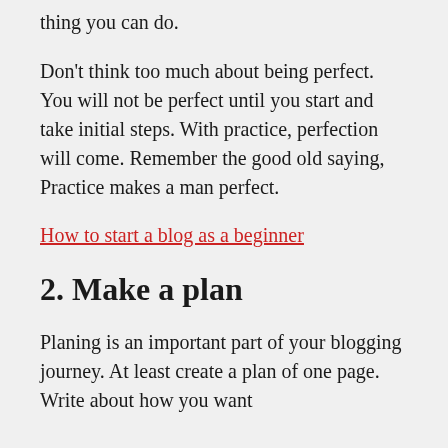thing you can do.
Don't think too much about being perfect. You will not be perfect until you start and take initial steps. With practice, perfection will come. Remember the good old saying, Practice makes a man perfect.
How to start a blog as a beginner
2. Make a plan
Planing is an important part of your blogging journey. At least create a plan of one page. Write about how you want